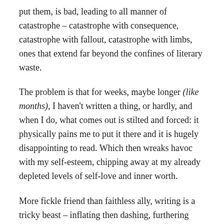put them, is bad, leading to all manner of catastrophe – catastrophe with consequence, catastrophe with fallout, catastrophe with limbs, ones that extend far beyond the confines of literary waste.
The problem is that for weeks, maybe longer (like months), I haven't written a thing, or hardly, and when I do, what comes out is stilted and forced: it physically pains me to put it there and it is hugely disappointing to read. Which then wreaks havoc with my self-esteem, chipping away at my already depleted levels of self-love and inner worth.
More fickle friend than faithless ally, writing is a tricky beast – inflating then dashing, furthering then sabotaging, all nib adventures and inky dreams. I preach its benefits, for done therapeutically it is capable of wonderful things: pulling out and extracting badness; reflecting innate truths; revealing deception, both personal and circumstantial; problem solving, untangling, translating, etc. What is revealed can then